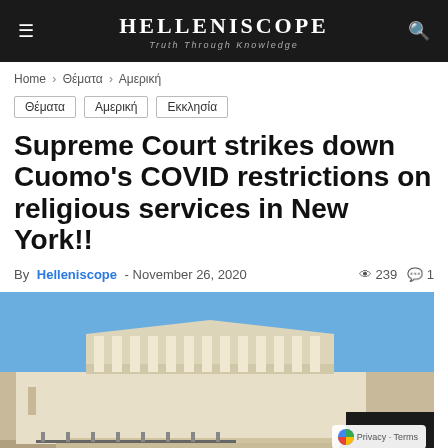HELLENISCOPE — Truth Through Knowledge
Home › Θέματα › Αμερική
Θέματα
Αμερική
Εκκλησία
Supreme Court strikes down Cuomo's COVID restrictions on religious services in New York!!
By Helleniscope - November 26, 2020 · 239 views · 1 comment
[Figure (photo): Exterior photograph of the United States Supreme Court building with classical columns, under a clear blue sky, with metal barricades visible in front and a silhouette of a person in the lower right corner.]